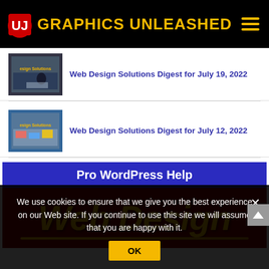[Figure (logo): Graphics Unleashed site header with red UJ logo icon and yellow bold text, hamburger menu icon on right, all on black background]
Web Design Solutions Digest for July 19, 2022
Web Design Solutions Digest for July 12, 2022
[Figure (infographic): Pro WordPress Help banner with blue background and white text, below it a dark red Web Design banner with large yellow italic bold text]
We use cookies to ensure that we give you the best experience on our Web site. If you continue to use this site we will assume that you are happy with it.
OK